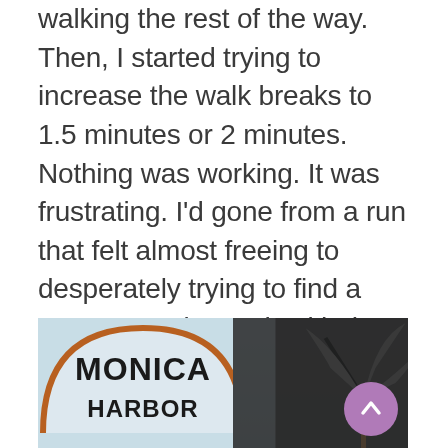walking the rest of the way. Then, I started trying to increase the walk breaks to 1.5 minutes or 2 minutes. Nothing was working. It was frustrating. I'd gone from a run that felt almost freeing to desperately trying to find a way to stay in touch with the pace I wanted. However, towards the end of mile 10, I found a new rhythm that brought me home. I went to a 30 second run/30 second walk interval and was able to do this for a little more than the last mile. The result, when I finished, I felt like I could do more at the same interval. Lesson learned.
[Figure (photo): Outdoor photo showing the Santa Monica Harbor sign in the lower left and a dark right portion with palm trees silhouetted. The sign reads 'MONICA' on top and 'HARBOR' below. A purple scroll-to-top button overlays the bottom right.]